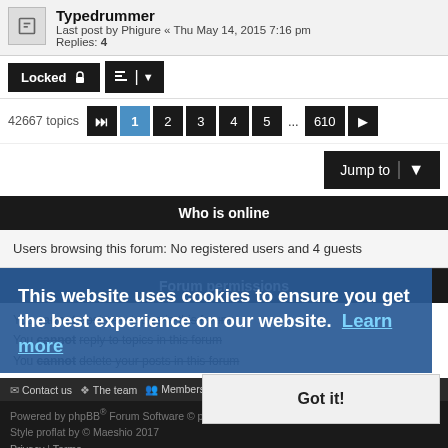Typedrummer
Last post by Phigure « Thu May 14, 2015 7:16 pm
Replies: 4
Locked | sort controls
42667 topics  1 2 3 4 5 ... 610
Jump to
Who is online
Users browsing this forum: No registered users and 4 guests
Forum permissions
You cannot post new topics in this forum
You cannot reply to topics in this forum
You cannot delete your posts in this forum
Contact us  The team  Members  Delete cookies  All times are UTC
Powered by phpBB® Forum Software © phpBB Limited
Style proflat by © Maeshio 2017
Privacy | Terms
This website uses cookies to ensure you get the best experience on our website.  Learn more
Got it!